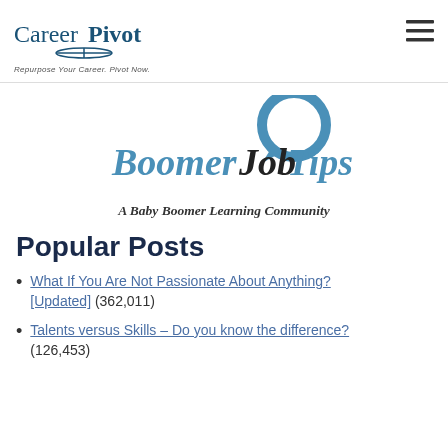CareerPivot – Repurpose Your Career. Pivot Now.
[Figure (logo): BoomerJobTips logo with speech bubble icon and text 'BoomerJobTips']
A Baby Boomer Learning Community
Popular Posts
What If You Are Not Passionate About Anything? [Updated] (362,011)
Talents versus Skills – Do you know the difference? (126,453)